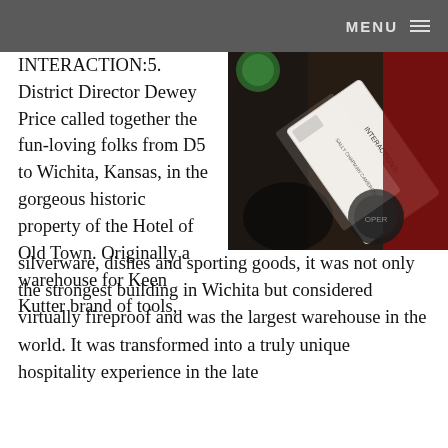MENU
[Figure (photo): A close-up photograph of conference badges and materials. Visible text includes 'INTERACTION:5', 'SALLY CHAPMAN CAMERON', and 'WHAT INSPIRES YOU?' on various cards and signage.]
INTERACTION:5. District Director Dewey Price called together the fun-loving folks from D5 to Wichita, Kansas, in the gorgeous historic property of the Hotel of Old Town. Originally a warehouse for Keen Kutter brand of tools, silverware, dishes and sporting goods, it was not only the strongest building in Wichita but considered virtually fireproof and was the largest warehouse in the world. It was transformed into a truly unique hospitality experience in the late